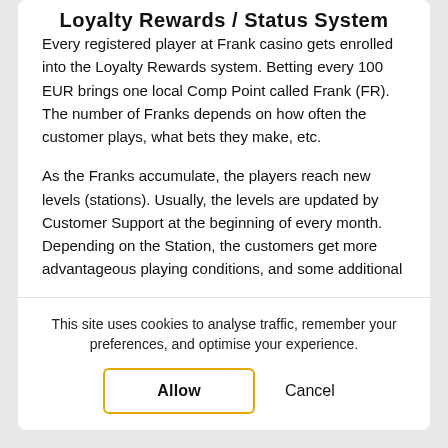Loyalty Rewards / Status System
Every registered player at Frank casino gets enrolled into the Loyalty Rewards system. Betting every 100 EUR brings one local Comp Point called Frank (FR). The number of Franks depends on how often the customer plays, what bets they make, etc.
As the Franks accumulate, the players reach new levels (stations). Usually, the levels are updated by Customer Support at the beginning of every month. Depending on the Station, the customers get more advantageous playing conditions, and some additional
This site uses cookies to analyse traffic, remember your preferences, and optimise your experience.
Allow
Cancel